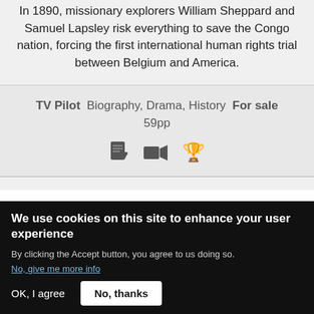In 1890, missionary explorers William Sheppard and Samuel Lapsley risk everything to save the Congo nation, forcing the first international human rights trial between Belgium and America.
TV Pilot  Biography, Drama, History  For sale  59pp
[Figure (other): Three icons: a document icon, a video camera icon, and a gold trophy icon]
We use cookies on this site to enhance your user experience
By clicking the Accept button, you agree to us doing so.
No, give me more info
OK, I agree  No, thanks